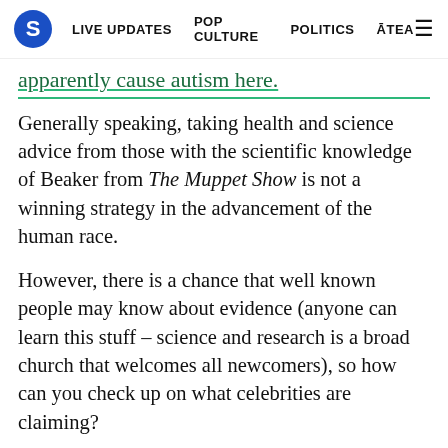S  LIVE UPDATES  POP CULTURE  POLITICS  ĀTEA  ≡
apparently cause autism here.
Generally speaking, taking health and science advice from those with the scientific knowledge of Beaker from The Muppet Show is not a winning strategy in the advancement of the human race.
However, there is a chance that well known people may know about evidence (anyone can learn this stuff – science and research is a broad church that welcomes all newcomers), so how can you check up on what celebrities are claiming?
Lucky we in the health sciences are better at this communicating with the public thing, so there are quite a few reliable sources out there on the